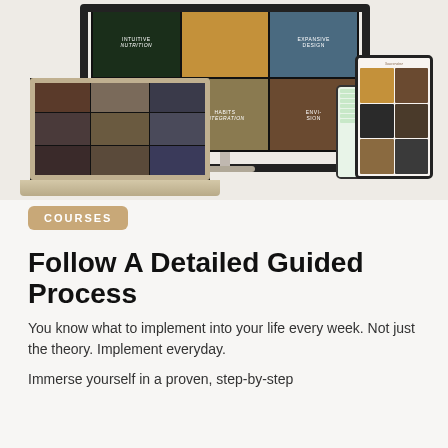[Figure (illustration): A collection of digital devices (large monitor/TV, laptop, smartphone, and tablet) displaying various online course thumbnails and app interfaces, suggesting an online learning platform.]
COURSES
Follow A Detailed Guided Process
You know what to implement into your life every week. Not just the theory. Implement everyday.
Immerse yourself in a proven, step-by-step